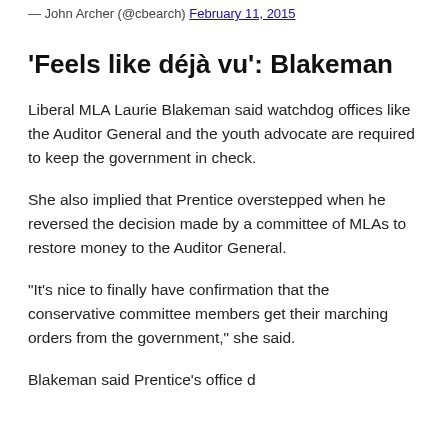John Archer (@cbearch) February 11, 2015
'Feels like déjà vu': Blakeman
Liberal MLA Laurie Blakeman said watchdog offices like the Auditor General and the youth advocate are required to keep the government in check.
She also implied that Prentice overstepped when he reversed the decision made by a committee of MLAs to restore money to the Auditor General.
“It’s nice to finally have confirmation that the conservative committee members get their marching orders from the government,” she said.
Blakeman said Prentice’s office d...